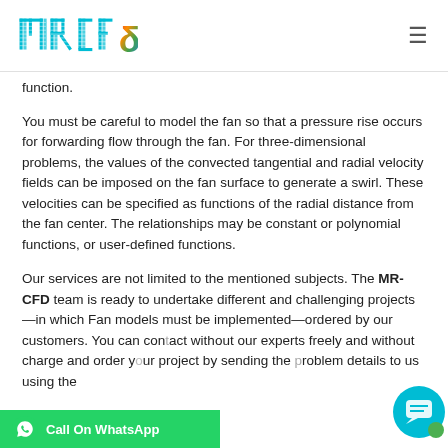MR CFD logo and navigation
function.
You must be careful to model the fan so that a pressure rise occurs for forwarding flow through the fan. For three-dimensional problems, the values of the convected tangential and radial velocity fields can be imposed on the fan surface to generate a swirl. These velocities can be specified as functions of the radial distance from the fan center. The relationships may be constant or polynomial functions, or user-defined functions.
Our services are not limited to the mentioned subjects. The MR-CFD team is ready to undertake different and challenging projects—in which Fan models must be implemented—ordered by our customers. You can contact without our experts freely and without charge and order your project by sending the problem details to us using the